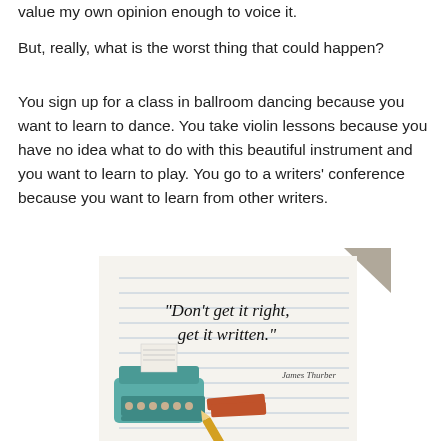value my own opinion enough to voice it.
But, really, what is the worst thing that could happen?
You sign up for a class in ballroom dancing because you want to learn to dance. You take violin lessons because you have no idea what to do with this beautiful instrument and you want to learn to play. You go to a writers' conference because you want to learn from other writers.
[Figure (illustration): Illustrated quote card with lined notepad background showing a typewriter and books. Quote text reads: "Don't get it right, get it written." attributed to James Thurber.]